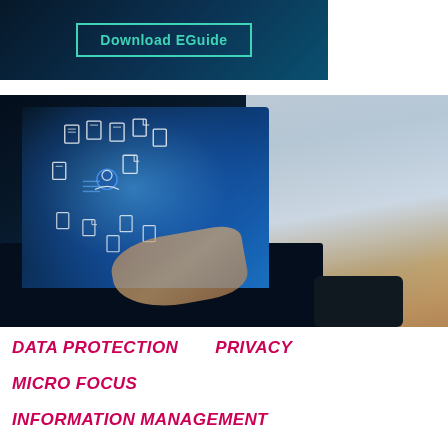[Figure (illustration): Dark teal/navy banner with 'Download EGuide' button in teal outline style]
[Figure (photo): Person typing on laptop with holographic floating document/file icons glowing blue on the screen, data protection imagery]
DATA PROTECTION   PRIVACY
MICRO FOCUS
INFORMATION MANAGEMENT